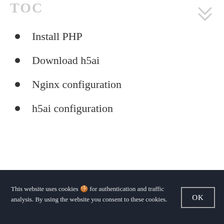TOC
Install PHP
Download h5ai
Nginx configuration
h5ai configuration
RECENT READS
This website uses cookies 🍪 for authentication and traffic analysis. By using the website you consent to these cookies.